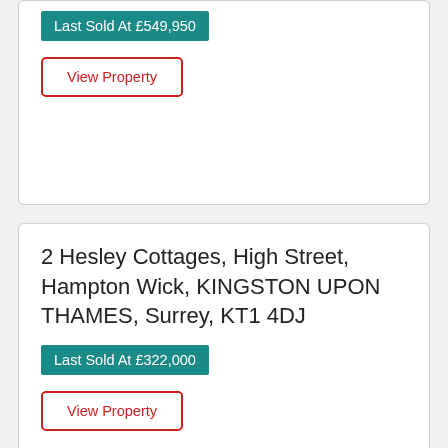Last Sold At £549,950
View Property
2 Hesley Cottages, High Street, Hampton Wick, KINGSTON UPON THAMES, Surrey, KT1 4DJ
Last Sold At £322,000
View Property
3 Hesley Cottages, High Street, Hampton Wick, KINGSTON UPON THAMES, Surrey, KT1 4DJ